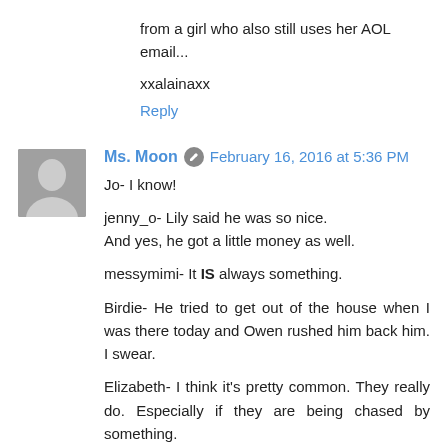from a girl who also still uses her AOL email...
xxalainaxx
Reply
Ms. Moon  February 16, 2016 at 5:36 PM
Jo- I know!

jenny_o- Lily said he was so nice.
And yes, he got a little money as well.

messymimi- It IS always something.

Birdie- He tried to get out of the house when I was there today and Owen rushed him back him. I swear.

Elizabeth- I think it's pretty common. They really do. Especially if they are being chased by something.

Julia- She was!